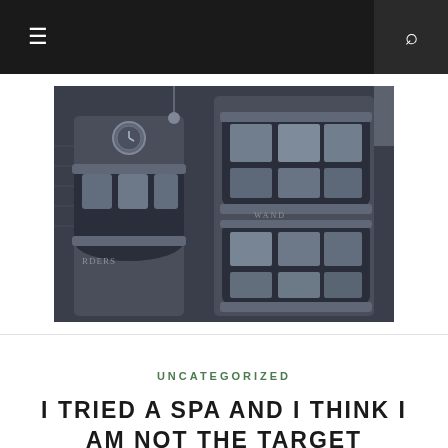☰  🔍
[Figure (photo): Photograph of a wizarding-themed storefront with curved bay windows, ornate metalwork, and dark brick facade — resembling Diagon Alley shops at a theme park.]
UNCATEGORIZED
I TRIED A SPA AND I THINK I AM NOT THE TARGET AUDIENCE FOR SPAS